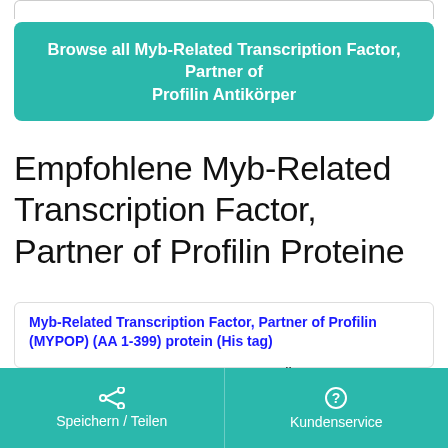[Figure (screenshot): Partial top border of a card element at the very top of the page]
Browse all Myb-Related Transcription Factor, Partner of Profilin Antikörper
Empfohlene Myb-Related Transcription Factor, Partner of Profilin Proteine
Myb-Related Transcription Factor, Partner of Profilin (MYPOP) (AA 1-399) protein (His tag)
Human
Insect Cells
(1)
ABIN3084168
Speichern / Teilen    Kundenservice